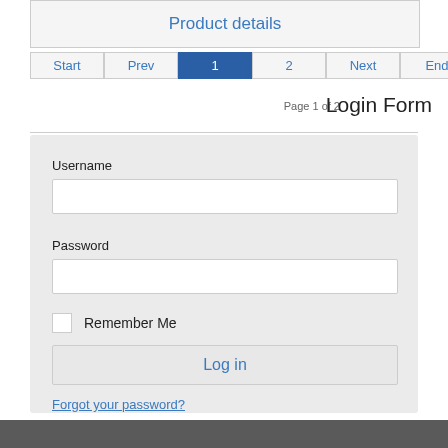Product details
Start  Prev  1  2  Next  End
Page 1 of 2
Login Form
Username
Password
Remember Me
Log in
Forgot your password?
Forgot your username?